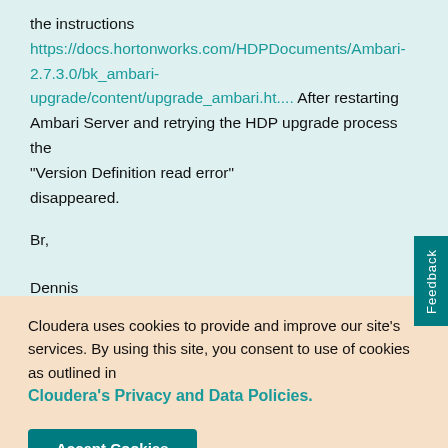the instructions https://docs.hortonworks.com/HDPDocuments/Ambari-2.7.3.0/bk_ambari-upgrade/content/upgrade_ambari.ht.... After restarting Ambari Server and retrying the HDP upgrade process the "Version Definition read error" disappeared.
Br,

Dennis
View solution in original post
Cloudera uses cookies to provide and improve our site's services. By using this site, you consent to use of cookies as outlined in Cloudera's Privacy and Data Policies.
Accept Cookies